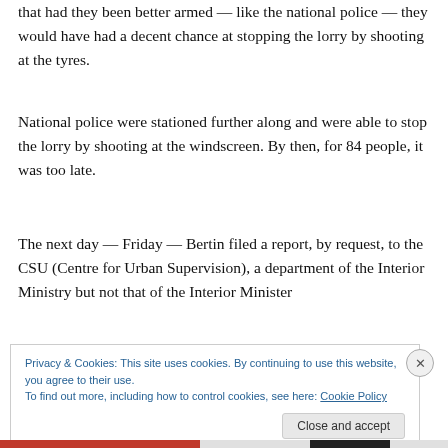that had they been better armed — like the national police — they would have had a decent chance at stopping the lorry by shooting at the tyres.
National police were stationed further along and were able to stop the lorry by shooting at the windscreen. By then, for 84 people, it was too late.
The next day — Friday — Bertin filed a report, by request, to the CSU (Centre for Urban Supervision), a department of the Interior Ministry but not that of the Interior Minister
Privacy & Cookies: This site uses cookies. By continuing to use this website, you agree to their use.
To find out more, including how to control cookies, see here: Cookie Policy